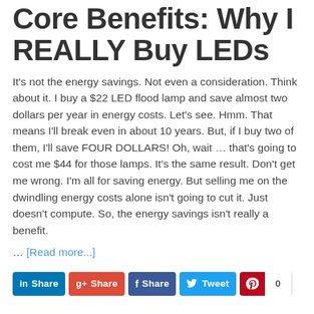Core Benefits: Why I REALLY Buy LEDs
It's not the energy savings. Not even a consideration. Think about it. I buy a $22 LED flood lamp and save almost two dollars per year in energy costs. Let's see. Hmm. That means I'll break even in about 10 years. But, if I buy two of them, I'll save FOUR DOLLARS! Oh, wait ... that's going to cost me $44 for those lamps. It's the same result. Don't get me wrong. I'm all for saving energy. But selling me on the dwindling energy costs alone isn't going to cut it. Just doesn't compute. So, the energy savings isn't really a benefit. ... [Read more...]